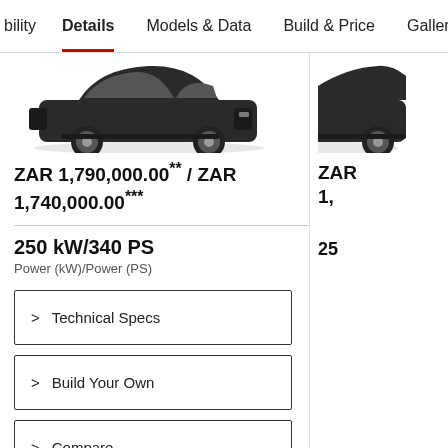bility   Details   Models & Data   Build & Price   Galler
[Figure (photo): Side profile of a dark-colored Porsche SUV (Cayenne) on white background]
ZAR 1,790,000.00** / ZAR 1,740,000.00***
250 kW/340 PS
Power (kW)/Power (PS)
> Technical Specs
> Build Your Own
> Compare
[Figure (photo): Partial view of a second dark Porsche SUV on white background (cropped on right)]
ZAR
1,
25